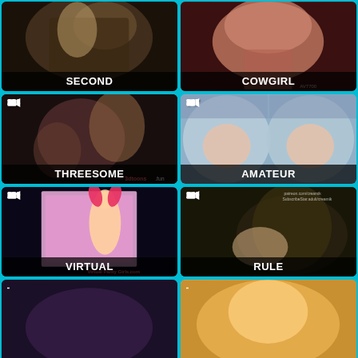[Figure (screenshot): Video thumbnail grid card labeled SECOND]
[Figure (screenshot): Video thumbnail grid card labeled COWGIRL]
[Figure (screenshot): Video thumbnail grid card labeled THREESOME, count 393]
[Figure (screenshot): Video thumbnail grid card labeled AMATEUR, count 347]
[Figure (screenshot): Video thumbnail grid card labeled VIRTUAL, count 239]
[Figure (screenshot): Video thumbnail grid card labeled RULE, count 249]
[Figure (screenshot): Video thumbnail grid card row 4 left, partially visible]
[Figure (screenshot): Video thumbnail grid card row 4 right, partially visible]